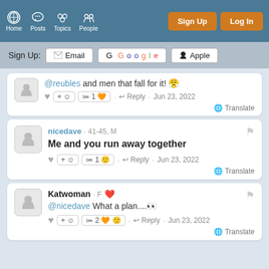Home | Posts | Topics | People | Sign Up | Log In
Sign Up: Email | Google | Apple
@reubles and men that fall for it! 😤  · Reply · Jun 23, 2022  🌐 Translate  ♥ +☺ ≔1 🧡
nicedave · 41-45, M
Me and you run away together
♥ +☺ ≔1 🙂 · Reply · Jun 23, 2022
🌐 Translate
Katwoman · F ❤️
@nicedave What a plan....👀
♥ +☺ ≔2 🧡 🙂 · Reply · Jun 23, 2022
🌐 Translate